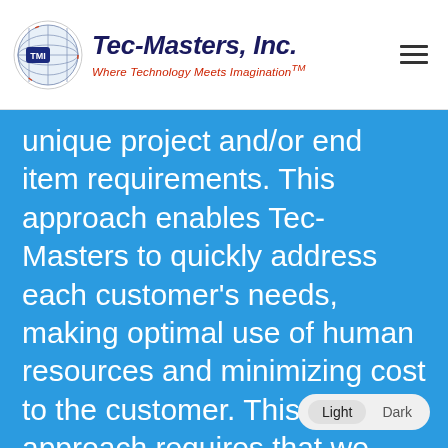[Figure (logo): Tec-Masters, Inc. logo with globe icon and tagline 'Where Technology Meets Imagination™']
unique project and/or end item requirements. This approach enables Tec-Masters to quickly address each customer's needs, making optimal use of human resources and minimizing cost to the customer. This approach requires that we maintain an engineering team with strong core competencies and a broad skills base, thus enabling our people to transcend typical discipline boundaries and resolve complex